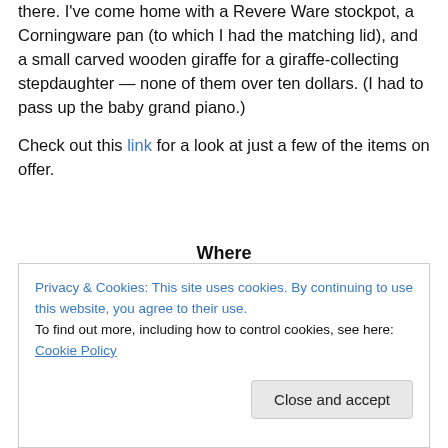there. I've come home with a Revere Ware stockpot, a Corningware pan (to which I had the matching lid), and a small carved wooden giraffe for a giraffe-collecting stepdaughter — none of them over ten dollars. (I had to pass up the baby grand piano.)
Check out this link for a look at just a few of the items on offer.
Where
The Gathering Place Warehouse
4911 Commerce Parkway
Privacy & Cookies: This site uses cookies. By continuing to use this website, you agree to their use.
To find out more, including how to control cookies, see here: Cookie Policy
Close and accept